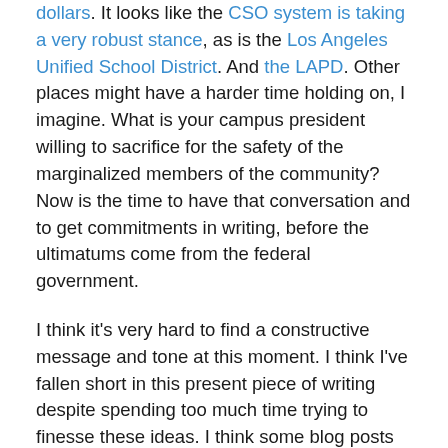dollars. It looks like the CSO system is taking a very robust stance, as is the Los Angeles Unified School District. And the LAPD. Other places might have a harder time holding on, I imagine. What is your campus president willing to sacrifice for the safety of the marginalized members of the community? Now is the time to have that conversation and to get commitments in writing, before the ultimatums come from the federal government.

I think it's very hard to find a constructive message and tone at this moment. I think I've fallen short in this present piece of writing despite spending too much time trying to finesse these ideas. I think some blog posts that are hitting that sweet spot are Tenure She Wrote, Jacquelyn Gill, and Josh Drew. This moment requires the formation of an intentional community, cohering and adhering as we experience great pressures from the outside.